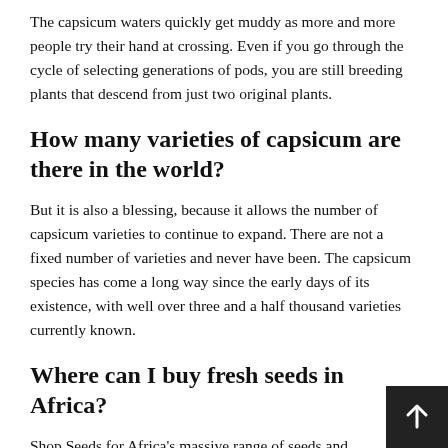The capsicum waters quickly get muddy as more and more people try their hand at crossing. Even if you go through the cycle of selecting generations of pods, you are still breeding plants that descend from just two original plants.
How many varieties of capsicum are there in the world?
But it is also a blessing, because it allows the number of capsicum varieties to continue to expand. There are not a fixed number of varieties and never have been. The capsicum species has come a long way since the early days of its existence, with well over three and a half thousand varieties currently known.
Where can I buy fresh seeds in Africa?
Shop Seeds for Africa's massive range of seeds and